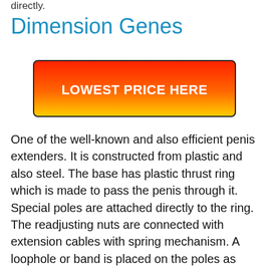directly.
Dimension Genes
[Figure (other): Red to yellow gradient button with text LOWEST PRICE HERE]
One of the well-known and also efficient penis extenders. It is constructed from plastic and also steel. The base has plastic thrust ring which is made to pass the penis through it. Special poles are attached directly to the ring. The readjusting nuts are connected with extension cables with spring mechanism. A loophole or band is placed on the poles as well as it is utilized to repair the placement of penis in the enlargement gadget. As an optional equipment, it might